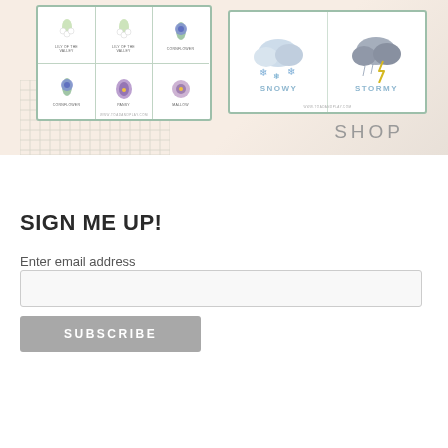[Figure (illustration): Shop banner showing two educational card sets: a flower identification card grid (lily of the valley, cornflower, pansy, mallow) and weather flashcards (snowy, stormy), with a decorative grid pattern overlay and the word SHOP in grey lettering on a peach background]
SIGN ME UP!
Enter email address
SUBSCRIBE